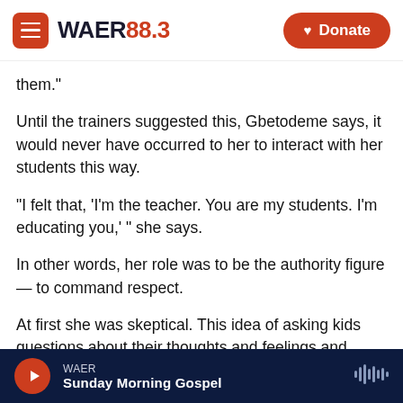[Figure (screenshot): WAER 88.3 website header with hamburger menu button, WAER 88.3 logo, and orange Donate button]
them."
Until the trainers suggested this, Gbetodeme says, it would never have occurred to her to interact with her students this way.
"I felt that, 'I'm the teacher. You are my students. I'm educating you,' " she says.
In other words, her role was to be the authority figure — to command respect.
At first she was skeptical. This idea of asking kids questions about their thoughts and feelings and
WAER  Sunday Morning Gospel